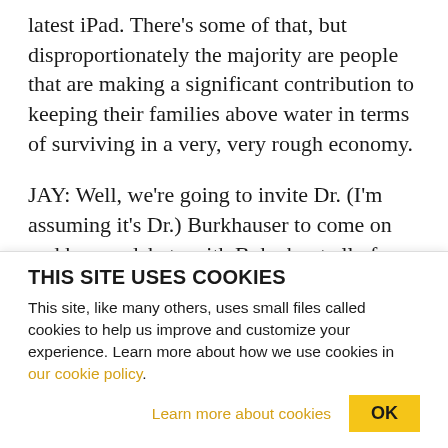latest iPad. There's some of that, but disproportionately the majority are people that are making a significant contribution to keeping their families above water in terms of surviving in a very, very rough economy.
JAY: Well, we're going to invite Dr. (I'm assuming it's Dr.) Burkhauser to come on and have a debate with Bob about all of this.
But let me ask you another question about this $o
THIS SITE USES COOKIES
This site, like many others, uses small files called cookies to help us improve and customize your experience. Learn more about how we use cookies in our cookie policy.
Learn more about cookies
OK